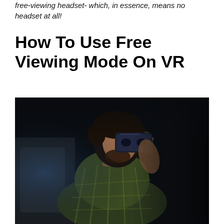free-viewing headset- which, in essence, means no headset at all!
How To Use Free Viewing Mode On VR
[Figure (photo): A man sitting in a dark room holding a VR headset up to his face, wearing a plaid shirt, illuminated by a soft light source from one side against a dark background.]